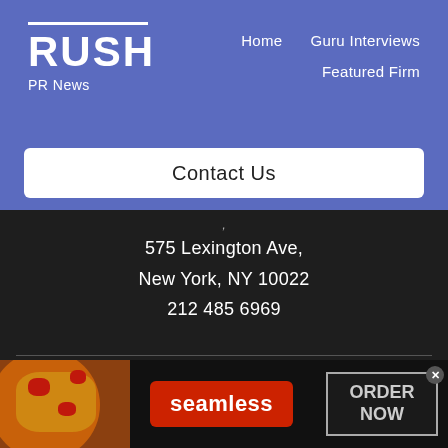RUSH PR News — Home | Guru Interviews | Featured Firm
RUSH
PR News
Contact Us
,
575 Lexington Ave,
New York, NY 10022
212 485 6969
Guru Interviews   Featured Firm
Community Article Submissions   RushPR News
[Figure (screenshot): Seamless food delivery advertisement banner with pizza image on left, red Seamless logo in center, and ORDER NOW button on right with close X button]